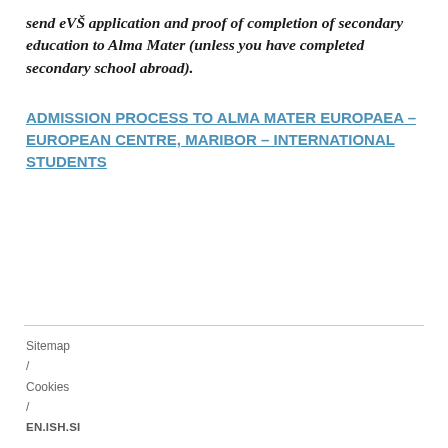send eVŠ application and proof of completion of secondary education to Alma Mater (unless you have completed secondary school abroad).
ADMISSION PROCESS TO ALMA MATER EUROPAEA – EUROPEAN CENTRE, MARIBOR – INTERNATIONAL STUDENTS
Sitemap / Cookies / EN.ISH.SI